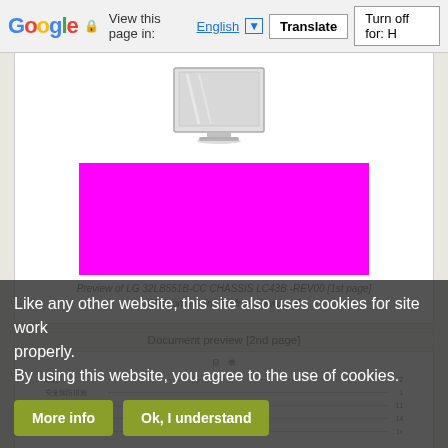Google — View this page in: English [▼] Translate  Turn off for: H
[Figure (screenshot): Screenshot of a document preview page showing an LG monitor image at top, a magenta/pink colored block below it representing a redacted or image-placeholder area, and a caption below: 'Preview of LG 32LB551B-CC CHASSIS LC43B -REV00 [1st page] Click on the link for free download!']
Preview of LG 32LB551B-CC CHASSIS LC43B -REV00 [1st page]
Click on the link for free download!
Document preview [2nd page]
[Figure (screenshot): Partial view of a document 2nd page preview showing a table of contents in Chinese/Japanese characters with dotted leaders and page numbers (2, 1, 11, 14, 1x)]
Like any other website, this site also uses cookies for site work properly.
By using this website, you agree to the use of cookies.
More info   Ok, I understand